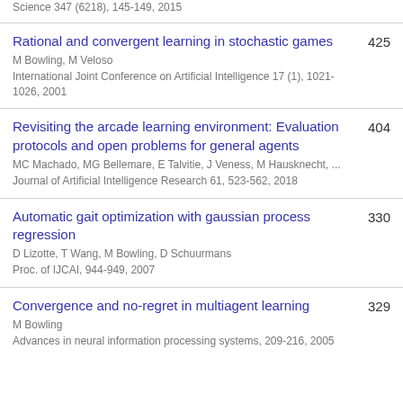Science 347 (6218), 145-149, 2015
Rational and convergent learning in stochastic games
M Bowling, M Veloso
International Joint Conference on Artificial Intelligence 17 (1), 1021-1026, 2001
425
Revisiting the arcade learning environment: Evaluation protocols and open problems for general agents
MC Machado, MG Bellemare, E Talvitie, J Veness, M Hausknecht, ...
Journal of Artificial Intelligence Research 61, 523-562, 2018
404
Automatic gait optimization with gaussian process regression
D Lizotte, T Wang, M Bowling, D Schuurmans
Proc. of IJCAI, 944-949, 2007
330
Convergence and no-regret in multiagent learning
M Bowling
Advances in neural information processing systems, 209-216, 2005
329